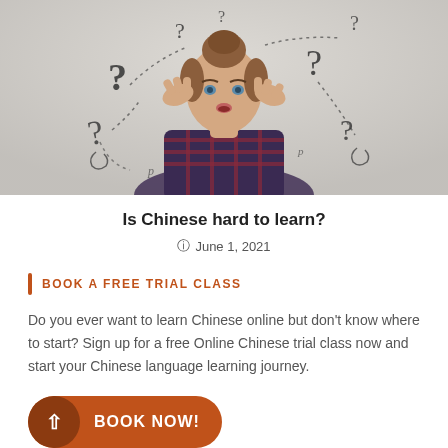[Figure (photo): A confused young woman with her hands on her head, surrounded by drawn question marks swirling around her head against a light gray background.]
Is Chinese hard to learn?
June 1, 2021
BOOK A FREE TRIAL CLASS
Do you ever want to learn Chinese online but don't know where to start? Sign up for a free Online Chinese trial class now and start your Chinese language learning journey.